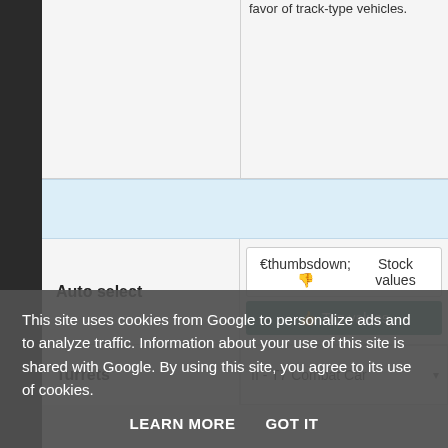favor of track-type vehicles.
|  |  |
| Auto select | Stock values / Top values |
| Turrets | II - T7 Combat Car |
This site uses cookies from Google to personalize ads and to analyze traffic. Information about your use of this site is shared with Google. By using this site, you agree to its use of cookies.
LEARN MORE   GOT IT